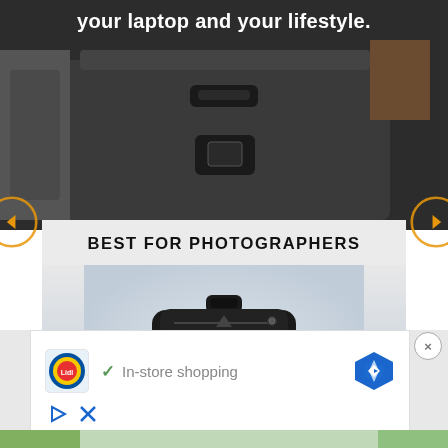your laptop and your lifestyle.
BEST FOR PHOTOGRAPHERS
[Figure (photo): Black Peak Design Backpack V2 on light gradient background]
Peak Design Backpack V2
[Figure (infographic): Advertisement banner: Lidl logo, checkmark with 'In-store shopping' text, map pin navigation icon, play and close icons, green map strip at bottom]